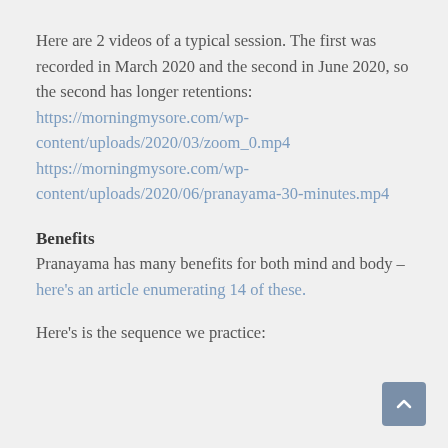Here are 2 videos of a typical session. The first was recorded in March 2020 and the second in June 2020, so the second has longer retentions: https://morningmysore.com/wp-content/uploads/2020/03/zoom_0.mp4 https://morningmysore.com/wp-content/uploads/2020/06/pranayama-30-minutes.mp4
Benefits
Pranayama has many benefits for both mind and body – here's an article enumerating 14 of these.
Here's is the sequence we practice: